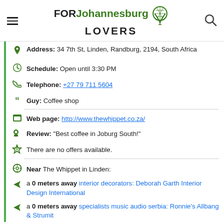FOR Johannesburg LOVERS
Address: 34 7th St, Linden, Randburg, 2194, South Africa
Schedule: Open until 3:30 PM
Telephone: +27 79 711 5604
Guy: Coffee shop
Web page: http://www.thewhippet.co.za/
Review: "Best coffee in Joburg South!"
There are no offers available.
Near The Whippet in Linden:
a 0 meters away interior decorators: Deborah Garth Interior Design International
a 0 meters away specialists music audio serbia: Ronnie's Allbang & Strumit